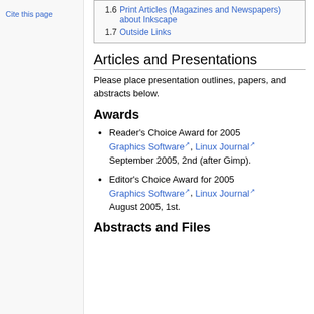Cite this page
1.6 Print Articles (Magazines and Newspapers) about Inkscape
1.7 Outside Links
Articles and Presentations
Please place presentation outlines, papers, and abstracts below.
Awards
Reader's Choice Award for 2005 Graphics Software, Linux Journal September 2005, 2nd (after Gimp).
Editor's Choice Award for 2005 Graphics Software, Linux Journal August 2005, 1st.
Abstracts and Files